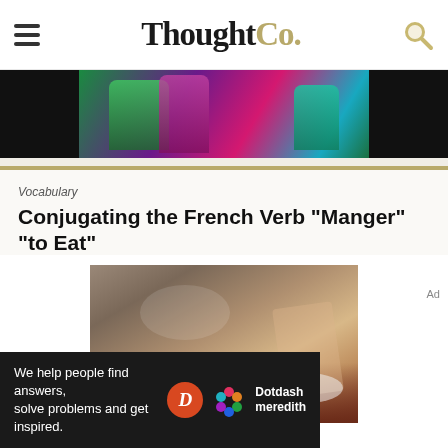ThoughtCo.
[Figure (photo): Top advertisement banner showing colorful reflective glassware on dark background]
[Figure (photo): Article hero image: people eating at a dining table with plates of food, salads, and glasses]
Vocabulary
Conjugating the French Verb "Manger" "to Eat"
[Figure (logo): Dotdash Meredith bottom advertisement banner: 'We help people find answers, solve problems and get inspired.']